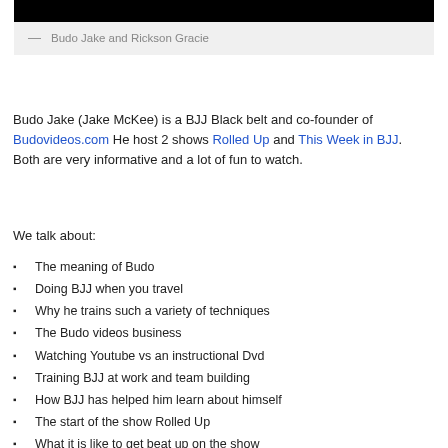[Figure (photo): Black image block at top]
— Budo Jake and Rickson Gracie
Budo Jake (Jake McKee) is a BJJ Black belt and co-founder of Budovideos.com He host 2 shows Rolled Up and This Week in BJJ.  Both are very informative and a lot of fun to watch.
We talk about:
The meaning of Budo
Doing BJJ when you travel
Why he trains such a variety of techniques
The Budo videos business
Watching Youtube vs an instructional Dvd
Training BJJ at work and team building
How BJJ has helped him learn about himself
The start of the show Rolled Up
What it is like to get beat up on the show
Doing live events and how you can learn about BJJ